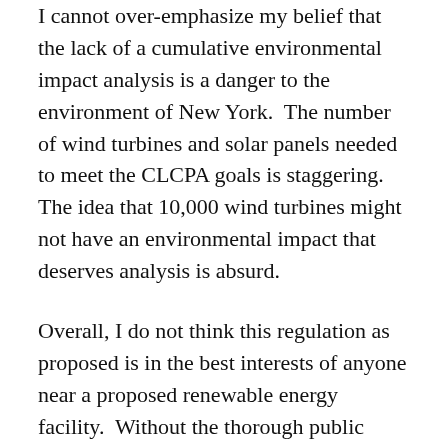I cannot over-emphasize my belief that the lack of a cumulative environmental impact analysis is a danger to the environment of New York. The number of wind turbines and solar panels needed to meet the CLCPA goals is staggering. The idea that 10,000 wind turbines might not have an environmental impact that deserves analysis is absurd.
Overall, I do not think this regulation as proposed is in the best interests of anyone near a proposed renewable energy facility. Without the thorough public participation requirements of Article Ten and with the threat of over-ruling any home rule limits on renewable energy development, the AREGCBA result may be New York's first climate refugees. The first